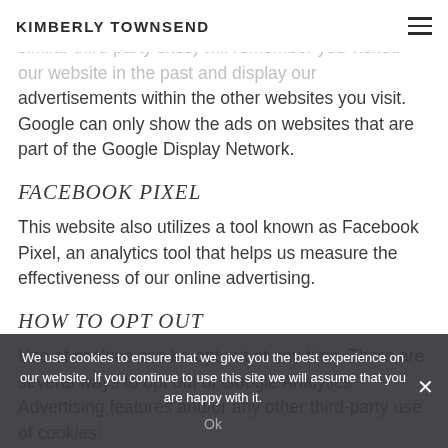KIMBERLY TOWNSEND
ads. Through use of cookies, Google (or other, similar third-party sites) will remember you visited our website in the past and display our advertisements within the other websites you visit. Google can only show the ads on websites that are part of the Google Display Network.
FACEBOOK PIXEL
This website also utilizes a tool known as Facebook Pixel, an analytics tool that helps us measure the effectiveness of our online advertising.
HOW TO OPT OUT
Use of cookies can be opt out at any time. There are several ways to opt out of Google Analytics Advertising features and/or any other third-party use of cookies:
We use cookies to ensure that we give you the best experience on our website. If you continue to use this site we will assume that you are happy with it.